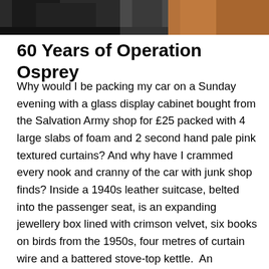[Figure (photo): Partial photograph at top of page showing what appears to be bags or cases, one dark/black and one brown/tan leather, cropped at the bottom.]
60 Years of Operation Osprey
Why would I be packing my car on a Sunday evening with a glass display cabinet bought from the Salvation Army shop for £25 packed with 4 large slabs of foam and 2 second hand pale pink textured curtains? And why have I crammed every nook and cranny of the car with junk shop finds? Inside a 1940s leather suitcase, belted into the passenger seat, is an expanding jewellery box lined with crimson velvet, six books on birds from the 1950s, four metres of curtain wire and a battered stove-top kettle.  An aluminium bucket jammed behind the driver's seat holds a tea set of four flowery cups and saucers, and a rolled poster print of a pale green canvas frame tent in a pine wood clearing, a young man is lying on the ground by the